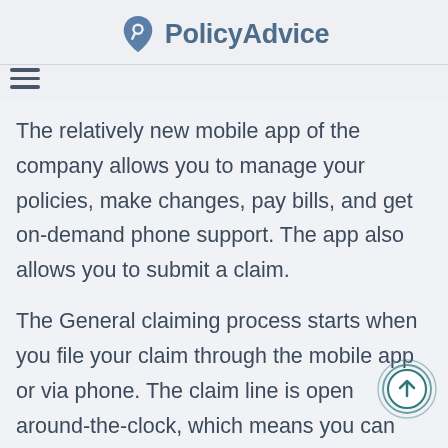PolicyAdvice
The relatively new mobile app of the company allows you to manage your policies, make changes, pay bills, and get on-demand phone support. The app also allows you to submit a claim.
The General claiming process starts when you file your claim through the mobile app or via phone. The claim line is open around-the-clock, which means you can start a claim as soon as the accident happens. To start the claim, you have to share the details of the